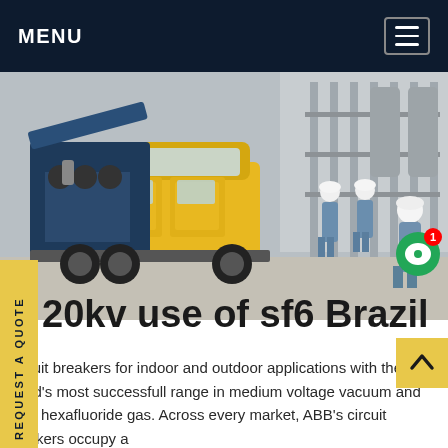MENU
[Figure (photo): Yellow service truck with open cargo area containing industrial equipment parked at an outdoor facility with workers in blue coveralls and hard hats in background]
20kv use of sf6 Brazil
Circuit breakers for indoor and outdoor applications with the world's most successfull range in medium voltage vacuum and Sulfr hexafluoride gas. Across every market, ABB's circuit breakers occupy a